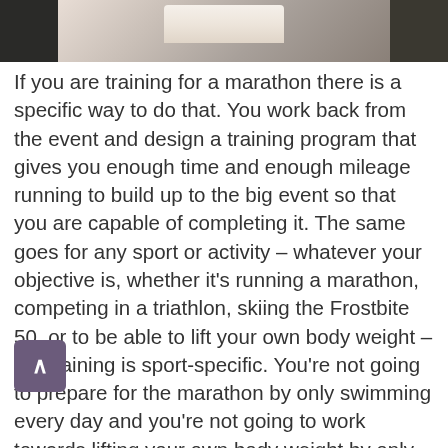[Figure (photo): Top portion of a photo showing folded towels on a wooden surface with a dark green background]
If you are training for a marathon there is a specific way to do that. You work back from the event and design a training program that gives you enough time and enough mileage running to build up to the big event so that you are capable of completing it. The same goes for any sport or activity – whatever your objective is, whether it's running a marathon, competing in a triathlon, skiing the Frostbite 50, or to be able to lift your own body weight – the training is sport-specific. You're not going to prepare for the marathon by only swimming every day and you're not going to work towards lifting your own body weight by only skiing every day. You are going to train specifically so that your body adapts to what you are asking it to do.